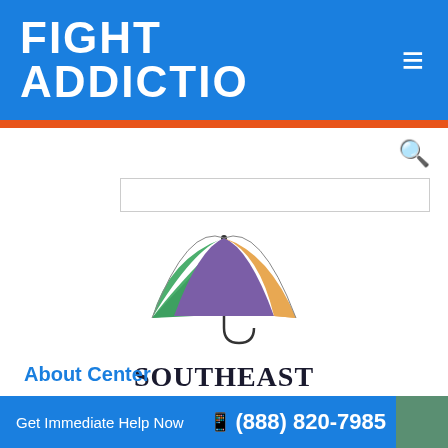FIGHT ADDICTIO ≡
[Figure (logo): Southeast Health Group logo with colorful umbrella (green, purple, orange sections) above the text SOUTHEAST HEALTH GROUP]
About Center
Get Immediate Help Now  📱 (888) 820-7985